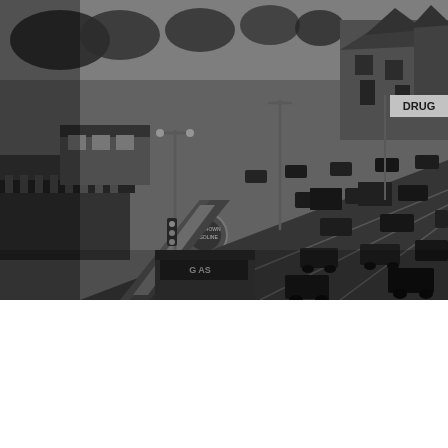[Figure (photo): Black and white aerial/elevated photograph of a busy multi-lane street in Detroit, likely from the 1930s, showing vintage automobiles, storefronts including a Red Crown gasoline station, a drug store sign, trees lining the street, and period architecture including a large Victorian-style house in the upper right.]
The El Moore was “Old Detroit”
City of Detroit, History, Neighborhood / By Keith Owens